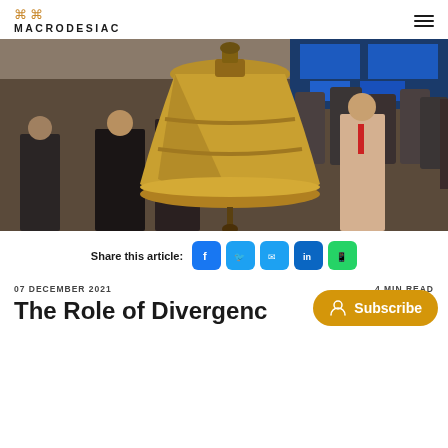MACRODESIAC
[Figure (photo): A large bronze trading bell in the foreground with a crowded stock exchange floor full of businesspeople in the background, with blue digital screens visible.]
Share this article:
07 DECEMBER 2021   4 MIN READ
The Role of Divergenc...